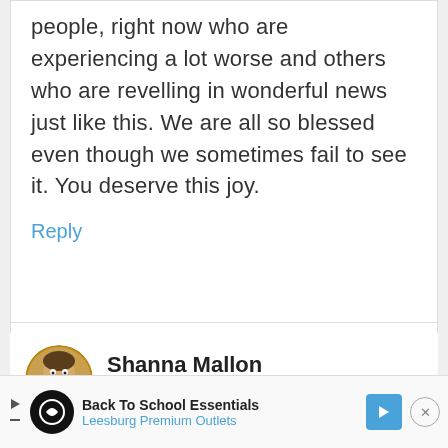people, right now who are experiencing a lot worse and others who are revelling in wonderful news just like this. We are all so blessed even though we sometimes fail to see it. You deserve this joy.
Reply
[Figure (illustration): Circular avatar illustration of Shanna Mallon, a cartoon character with brown hair and tan clothing]
Shanna Mallon
January 11, 2015 at 5:03 PM
[Figure (other): Advertisement banner for Back To School Essentials at Leesburg Premium Outlets]